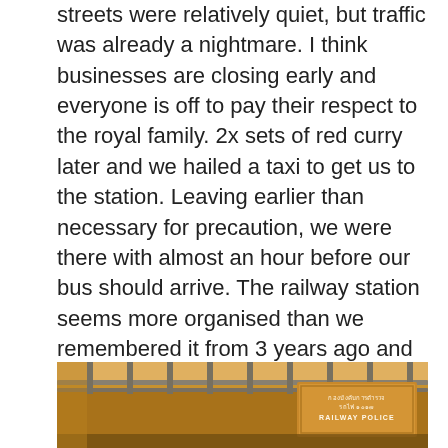streets were relatively quiet, but traffic was already a nightmare. I think businesses are closing early and everyone is off to pay their respect to the royal family. 2x sets of red curry later and we hailed a taxi to get us to the station. Leaving earlier than necessary for precaution, we were there with almost an hour before our bus should arrive. The railway station seems more organised than we remembered it from 3 years ago and the air conditioning was blissful. Sticking our heads outside before 18:50 at the rendez-vous, we waited another 40minutes before a rep appeared to tell us the bus was severely delayed in the traffic. Go back inside and enjoy the cool air. I love this rep.
We noticed that somewhere between 70 – 90% of the Thai nationalities were wearing black. Staying out of the way in the main hall we watched the throng of tourists flit about with the stickers we had been tagged with.
[Figure (photo): Interior photo of a railway station showing overhead metal rods/rails and a golden/brown sign reading 'RAILWAY POLICE' in Thai and English script on an ornate wooden board.]